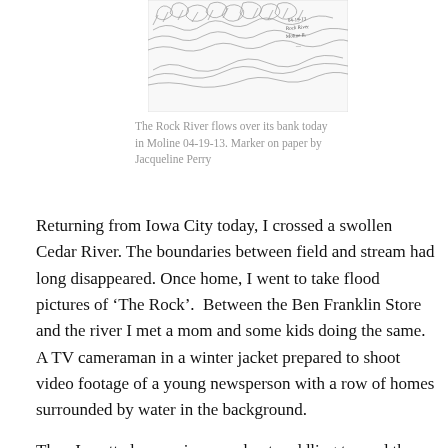[Figure (illustration): A loose marker sketch of the Rock River flooding over its banks in Moline, with handwritten annotation '04-19-13 Rock River Moline IL' visible in the upper right of the drawing.]
The Rock River flows over its bank today in Moline 04-19-13. Marker on paper by Jacqueline Perry
Returning from Iowa City today, I crossed a swollen Cedar River. The boundaries between field and stream had long disappeared. Once home, I went to take flood pictures of ‘The Rock’.  Between the Ben Franklin Store and the river I met a mom and some kids doing the same.  A TV cameraman in a winter jacket prepared to shoot video footage of a young newsperson with a row of homes surrounded by water in the background.
Then I spotted a man in a row boat paddling toward the parking lot–I recognized him. It was Buck, a member of my